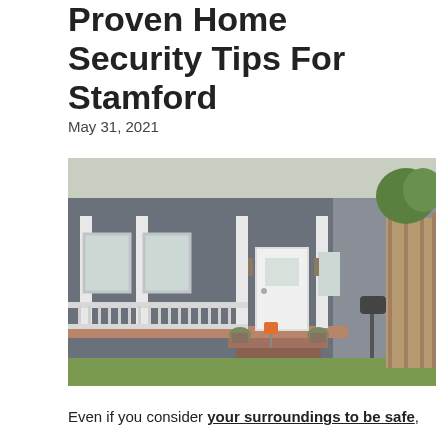Proven Home Security Tips For Stamford
May 31, 2021
[Figure (photo): Front exterior of a gray craftsman-style house with white porch columns, white front door, porch railing, steps with potted plants, mailbox, and green lawn.]
Even if you consider your surroundings to be safe,